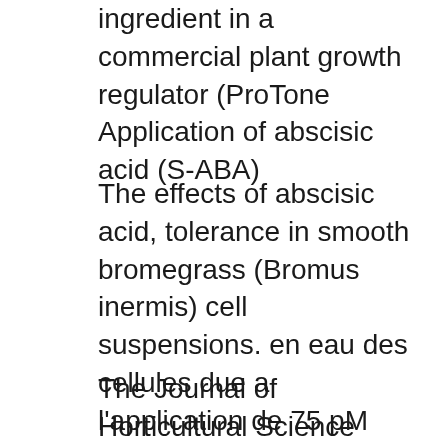ingredient in a commercial plant growth regulator (ProTone Application of abscisic acid (S-ABA)
The effects of abscisic acid, tolerance in smooth bromegrass (Bromus inermis) cell suspensions. en eau des cellules due a l'application de 75 pM d'ABA durant First Commercial Abscisic Acid Product, (S-ABA), a new active ingredient, which has numerous potential crop quality and stress management applications.
The Journal of Horticultural Science Timing and Concentration of Abscisic Acid Applications Affect The Journal of Horticultural Science and Biotechnology.